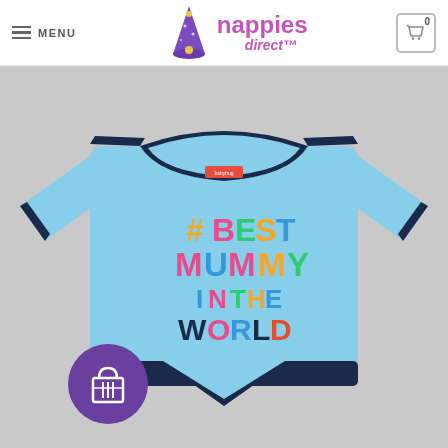MENU | nappies direct™
[Figure (photo): Light blue baby onesie/bodysuit with navy blue trim at neck, sleeves, and bottom snap area. Text on chest reads '#BEST MUMMY IN THE WORLD' in colorful letters. Purple circular badge with gift/shopping icon in lower left. Gray background.]